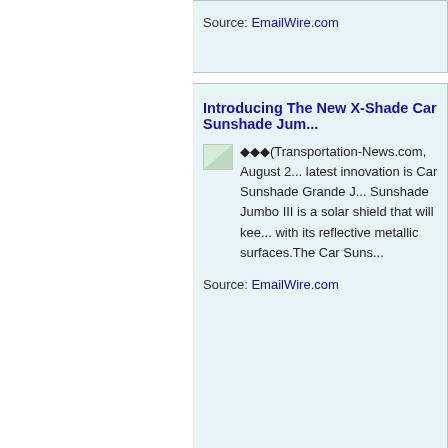Source: EmailWire.com
Introducing The New X-Shade Car Sunshade Jum...
���(Transportation-News.com, August 2... latest innovation is Car Sunshade Grande J... Sunshade Jumbo III is a solar shield that will kee... with its reflective metallic surfaces.The Car Suns...
Source: EmailWire.com
Introducing The New X-Shade Car Sunshade Jum...
���(Transportation-News.com, August 2... latest innovation is Car Windshield Sunsha... Shade Car Sunshade Jumbo II is a solar shield t... reflecting the sun with its reflective metallic surfa... Amazon...
Source: EmailWire.com
Car Leasing Company Introduces No Credit Car L...